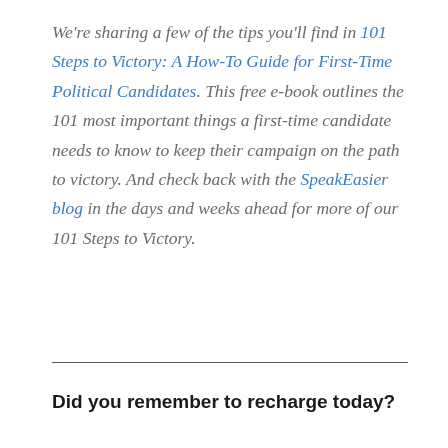We're sharing a few of the tips you'll find in 101 Steps to Victory: A How-To Guide for First-Time Political Candidates. This free e-book outlines the 101 most important things a first-time candidate needs to know to keep their campaign on the path to victory. And check back with the SpeakEasier blog in the days and weeks ahead for more of our 101 Steps to Victory.
Did you remember to recharge today?